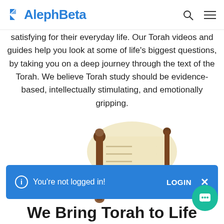AlephBeta
satisfying for their everyday life. Our Torah videos and guides help you look at some of life's biggest questions, by taking you on a deep journey through the text of the Torah. We believe Torah study should be evidence-based, intellectually stimulating, and emotionally gripping.
[Figure (illustration): Torah scroll illustration showing a partially unrolled parchment scroll with wooden rollers (atzei chayim), depicted in light tan/beige tones on a white background.]
You're not logged in!
LOGIN
We Bring Torah to Life